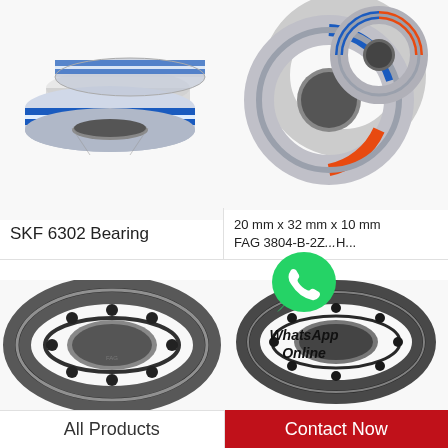[Figure (photo): SKF 6302 bearing with blue rubber seal, two stacked bearings shown on white background]
SKF 6302 Bearing
[Figure (photo): FAG 3804-B-2Z bearing with orange and blue seals, two bearings shown on white background]
20 mm x 32 mm x 10 mm FAG 3804-B-2Z...H...
[Figure (photo): Open angular contact ball bearing, large, on white background]
[Figure (photo): Open angular contact ball bearing, smaller, on white background]
[Figure (logo): WhatsApp Online logo with green phone bubble icon and italic bold text 'WhatsApp Online']
All Products
Contact Now